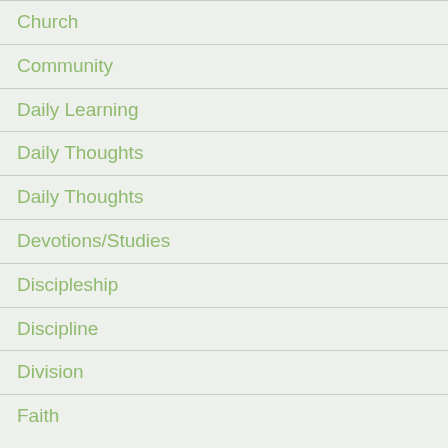Church
Community
Daily Learning
Daily Thoughts
Daily Thoughts
Devotions/Studies
Discipleship
Discipline
Division
Faith